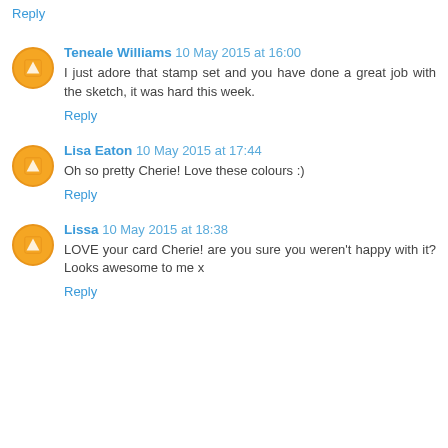Reply
Teneale Williams 10 May 2015 at 16:00
I just adore that stamp set and you have done a great job with the sketch, it was hard this week.
Reply
Lisa Eaton 10 May 2015 at 17:44
Oh so pretty Cherie! Love these colours :)
Reply
Lissa 10 May 2015 at 18:38
LOVE your card Cherie! are you sure you weren't happy with it? Looks awesome to me x
Reply